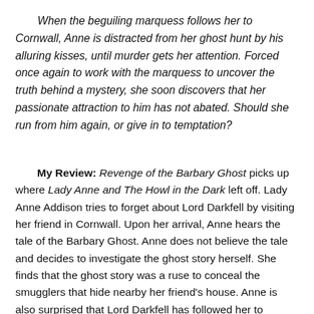When the beguiling marquess follows her to Cornwall, Anne is distracted from her ghost hunt by his alluring kisses, until murder gets her attention. Forced once again to work with the marquess to uncover the truth behind a mystery, she soon discovers that her passionate attraction to him has not abated. Should she run from him again, or give in to temptation?
My Review: Revenge of the Barbary Ghost picks up where Lady Anne and The Howl in the Dark left off. Lady Anne Addison tries to forget about Lord Darkfell by visiting her friend in Cornwall. Upon her arrival, Anne hears the tale of the Barbary Ghost. Anne does not believe the tale and decides to investigate the ghost story herself. She finds that the ghost story was a ruse to conceal the smugglers that hide nearby her friend's house. Anne is also surprised that Lord Darkfell has followed her to